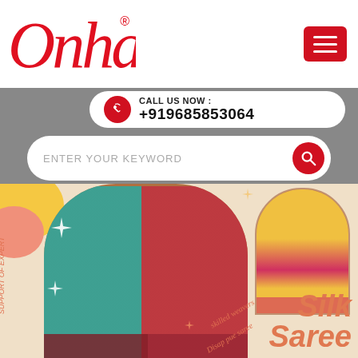[Figure (logo): Onha brand logo in red italic script with registered trademark symbol]
[Figure (infographic): Red hamburger menu button (three white horizontal lines on red rounded rectangle background)]
CALL US NOW : +919685853064
ENTER YOUR KEYWORD
[Figure (photo): Website banner showing two women wearing silk sarees (teal/pink and red) on the left, and a woman wearing a yellow/red silk saree on the right inside an arch frame. Text reads 'Silk Saree' and decorative elements include sparkles and curved text 'skilled weavers' and 'SUPPORT OF EXPERT']